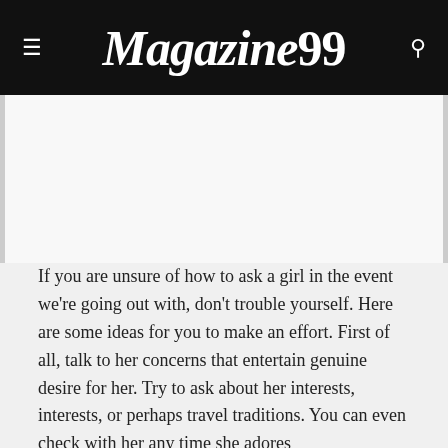Magazine99
[Figure (other): Advertisement or blank content area below the header]
If you are unsure of how to ask a girl in the event we're going out with, don't trouble yourself. Here are some ideas for you to make an effort. First of all, talk to her concerns that entertain genuine desire for her. Try to ask about her interests, interests, or perhaps travel traditions. You can even check with her any time she adores